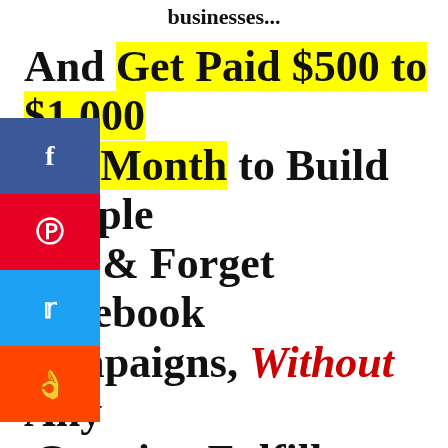businesses...
And Get Paid $500 to $1,000 Per Month to Build Simple Set & Forget Facebook Campaigns, Without Any Ongoing Fulfillment
[Figure (other): Social media share sidebar buttons: Facebook (blue), Pinterest (red), Twitter (blue), Reddit (orange)]